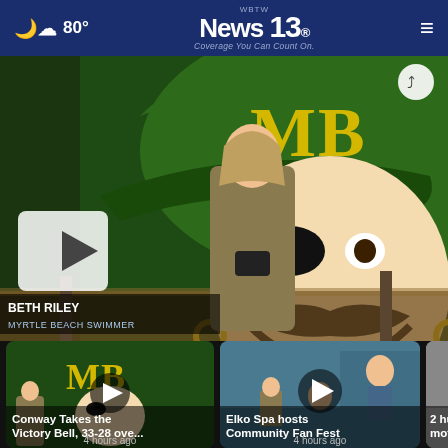☁ 80° | WBTW News 13 — Coverage You Can Count On. | ≡
[Figure (screenshot): News broadcast video still showing female anchor standing in front of a large green Myrtle Beach Seahawks pirate mascot logo display. Lower third text reads 'BETH RILEY — MYRTLE BEACH SWIMMER'. A play button is visible on the left side.]
[Figure (screenshot): Thumbnail for 'Conway Takes the Victory Bell, 33-28 ove...' video, showing MB pirate mascot. Published 4 hours ago.]
Conway Takes the Victory Bell, 33-28 ove...
4 hours ago
[Figure (screenshot): Thumbnail for 'Elko Spa hosts Community Fan Fest' video. Published 4 hours ago.]
Elko Spa hosts Community Fan Fest
4 hours ago
[Figure (screenshot): Partial thumbnail reading '2 hurt... motor...' — cropped at right edge.]